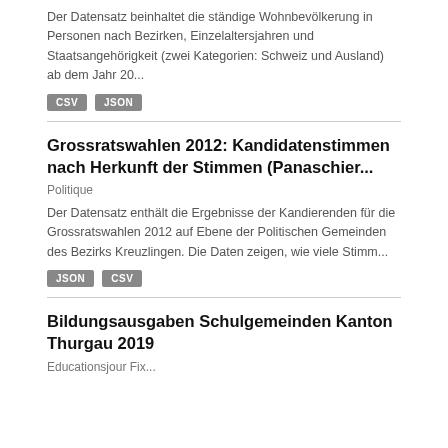Der Datensatz beinhaltet die ständige Wohnbevölkerung in Personen nach Bezirken, Einzelaltersjahren und Staatsangehörigkeit (zwei Kategorien: Schweiz und Ausland) ab dem Jahr 20...
CSV  JSON
Grossratswahlen 2012: Kandidatenstimmen nach Herkunft der Stimmen (Panaschier...
Politique
Der Datensatz enthält die Ergebnisse der Kandierenden für die Grossratswahlen 2012 auf Ebene der Politischen Gemeinden des Bezirks Kreuzlingen. Die Daten zeigen, wie viele Stimm...
JSON  CSV
Bildungsausgaben Schulgemeinden Kanton Thurgau 2019
Educationsjour Fix...